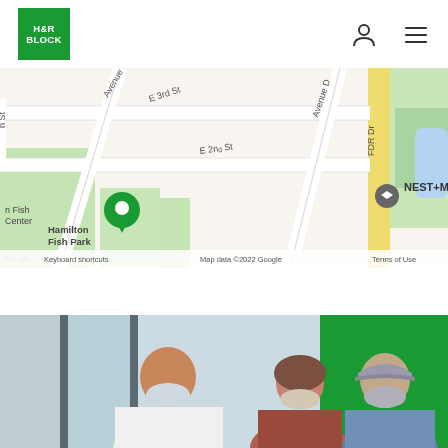[Figure (logo): H&R Block green logo]
[Figure (map): Google map showing location near Hamilton Fish Park, NEST+M, Avenue C, E 3rd St, E 2nd St, Avenue D, FDR Dr, with a green H&R Block pin marker. Map data ©2022 Google. Keyboard shortcuts. Terms of Use.]
[Figure (photo): Photo of H&R Block tax professional wearing mask consulting with two clients (a woman and an older man in a cap) both wearing masks inside an H&R Block office with green signage visible]